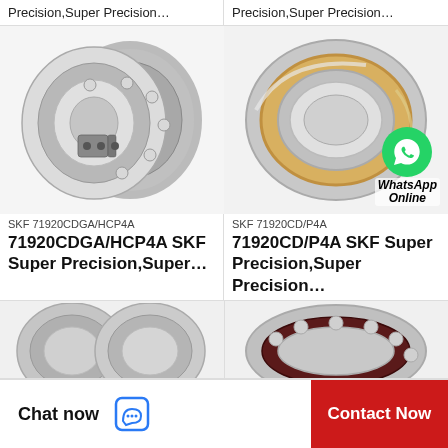Precision,Super Precision…
Precision,Super Precision…
[Figure (photo): SKF 71920CDGA/HCP4A angular contact ball bearing, shown as a pair with cutaway cross-section view, metallic silver/steel finish]
[Figure (photo): SKF 71920CD/P4A angular contact ball bearing, single ring view with gold/brass colored cage, metallic silver finish, with WhatsApp Online badge overlay]
SKF 71920CDGA/HCP4A
SKF 71920CD/P4A
71920CDGA/HCP4A SKF Super Precision,Super…
71920CD/P4A SKF Super Precision,Super Precision…
[Figure (photo): Partial view of angular contact ball bearing, grey metallic, two bearings side by side]
[Figure (photo): Partial view of angular contact ball bearing with dark maroon/black cage and visible balls]
Chat now   Contact Now